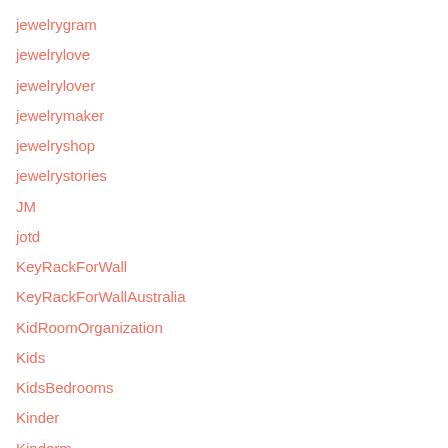jewelrygram
jewelrylove
jewelrylover
jewelrymaker
jewelryshop
jewelrystories
JM
jotd
KeyRackForWall
KeyRackForWallAustralia
KidRoomOrganization
Kids
KidsBedrooms
Kinder
Kinderm